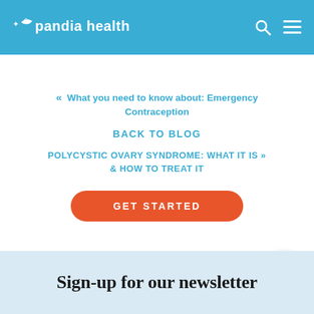pandia health
« What you need to know about: Emergency Contraception
BACK TO BLOG
POLYCYSTIC OVARY SYNDROME: WHAT IT IS & HOW TO TREAT IT »
GET STARTED
Sign-up for our newsletter